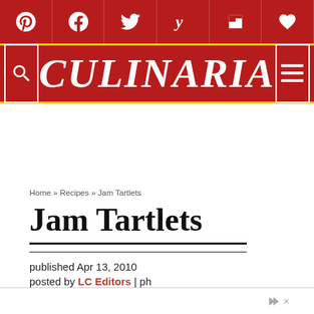CULINARIA — social sharing bar and logo header
Home » Recipes » Jam Tartlets
Jam Tartlets
published Apr 13, 2010
posted by LC Editors | ph
This post may contain affiliate small commission.
JUMP TO RECIPE